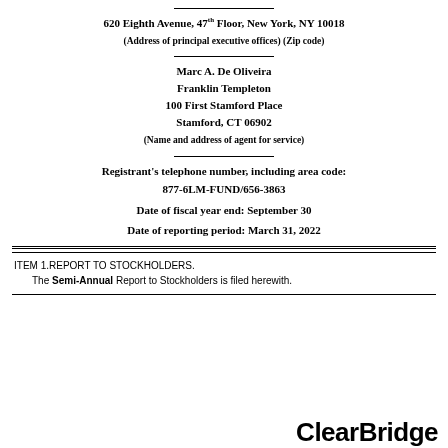620 Eighth Avenue, 47th Floor, New York, NY 10018
(Address of principal executive offices) (Zip code)
Marc A. De Oliveira
Franklin Templeton
100 First Stamford Place
Stamford, CT 06902
(Name and address of agent for service)
Registrant's telephone number, including area code: 877-6LM-FUND/656-3863
Date of fiscal year end: September 30
Date of reporting period: March 31, 2022
ITEM 1.REPORT TO STOCKHOLDERS.
The Semi-Annual Report to Stockholders is filed herewith.
[Figure (logo): ClearBridge logo text in bold black font]